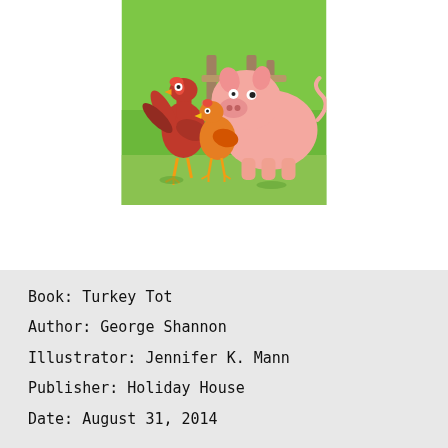[Figure (illustration): Children's book cover illustration showing a large pink pig facing a red rooster/turkey and an orange chicken, near a wooden fence with green grass background.]
Book: Turkey Tot
Author: George Shannon
Illustrator: Jennifer K. Mann
Publisher: Holiday House
Date: August 31, 2014